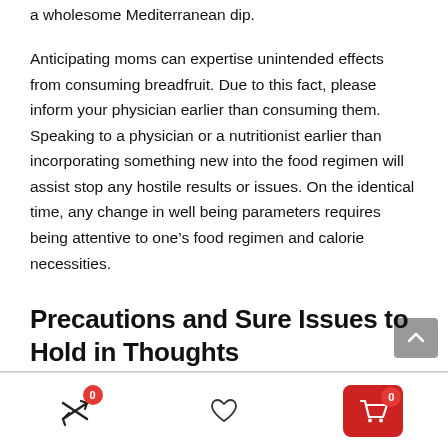a wholesome Mediterranean dip.
Anticipating moms can expertise unintended effects from consuming breadfruit. Due to this fact, please inform your physician earlier than consuming them. Speaking to a physician or a nutritionist earlier than incorporating something new into the food regimen will assist stop any hostile results or issues. On the identical time, any change in well being parameters requires being attentive to one’s food regimen and calorie necessities.
Precautions and Sure Issues to Hold in Thoughts
0 [compare icon] | [heart icon] | 0 [cart icon]